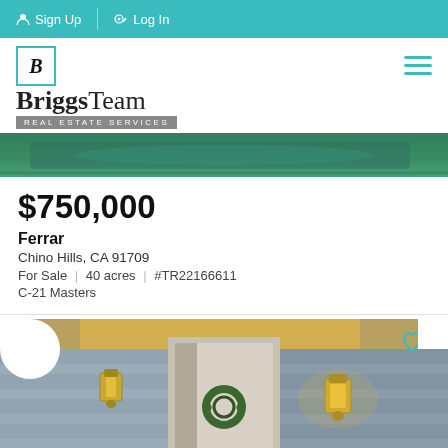Sign Up | Log In
[Figure (logo): BriggsTeam Real Estate Services logo with teal border icon and hamburger menu]
[Figure (photo): Partial aerial/landscape photo showing green grass/pool area, top of listing card]
$750,000
Ferrar
Chino Hills, CA 91709
For Sale | 40 acres | #TR22166611
C-21 Masters
[Figure (photo): Front door of a house with wreath, wall-mounted lanterns on grey siding, heart/like icon in top right corner]